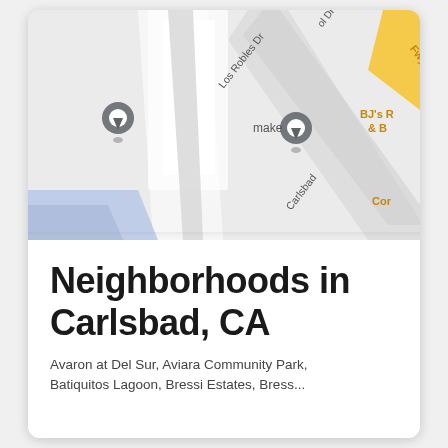[Figure (map): Google Maps screenshot showing Carlsbad, CA area with two map pin markers, street labels including 'Los Robles Dr' and 'Carlsbad', text labels 'make', 'BJ's R & B', 'Cor', and a yellow freeway strip in the upper right corner, with a blue water area in the lower left.]
Neighborhoods in Carlsbad, CA
Avaron at Del Sur, Aviara Community Park, Batiquitos Lagoon, Bressi Estates, Bressi...